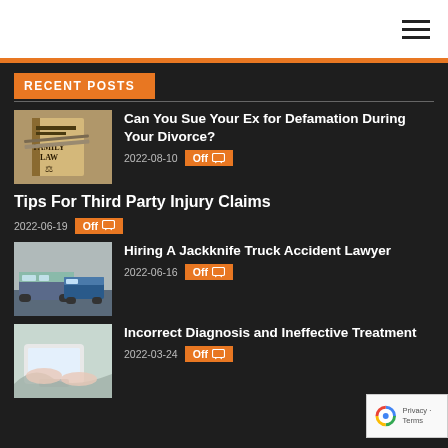RECENT POSTS
Can You Sue Your Ex for Defamation During Your Divorce?
Tips For Third Party Injury Claims
Hiring A Jackknife Truck Accident Lawyer
Incorrect Diagnosis and Ineffective Treatment